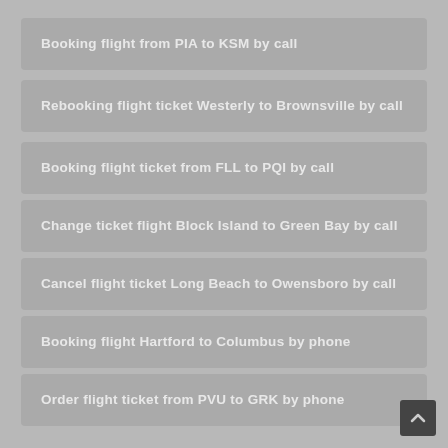Booking flight from PIA to KSM by call
Rebooking flight ticket Westerly to Brownsville by call
Booking flight ticket from FLL to PQI by call
Change ticket flight Block Island to Green Bay by call
Cancel flight ticket Long Beach to Owensboro by call
Booking flight Hartford to Columbus by phone
Order flight ticket from PVU to GRK by phone